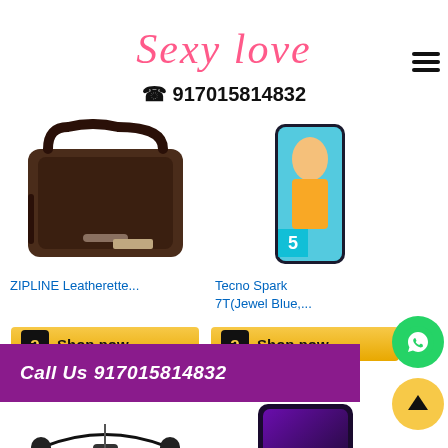[Figure (logo): Sexy Love brand logo in pink cursive script]
☎ 917015814832
[Figure (photo): ZIPLINE dark brown leatherette laptop messenger bag]
ZIPLINE Leatherette...
[Figure (photo): Tecno Spark 7T smartphone in Jewel Blue color]
Tecno Spark 7T(Jewel Blue,...
[Figure (screenshot): Amazon.in Shop now button for ZIPLINE bag]
[Figure (screenshot): Amazon.in Shop now button for Tecno Spark]
[Figure (photo): Black wireless neckband earphones]
[Figure (photo): Redmi/Activ smartphone in dark purple/black color]
Call Us 917015814832
Sony Buller...
Redmi 6 Activ...